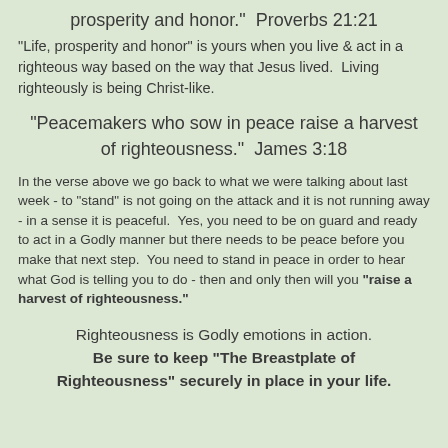prosperity and honor."  Proverbs 21:21
"Life, prosperity and honor" is yours when you live & act in a righteous way based on the way that Jesus lived.  Living righteously is being Christ-like.
"Peacemakers who sow in peace raise a harvest of righteousness."  James 3:18
In the verse above we go back to what we were talking about last week - to "stand" is not going on the attack and it is not running away - in a sense it is peaceful.  Yes, you need to be on guard and ready to act in a Godly manner but there needs to be peace before you make that next step.  You need to stand in peace in order to hear what God is telling you to do - then and only then will you "raise a harvest of righteousness."
Righteousness is Godly emotions in action. Be sure to keep "The Breastplate of Righteousness" securely in place in your life.